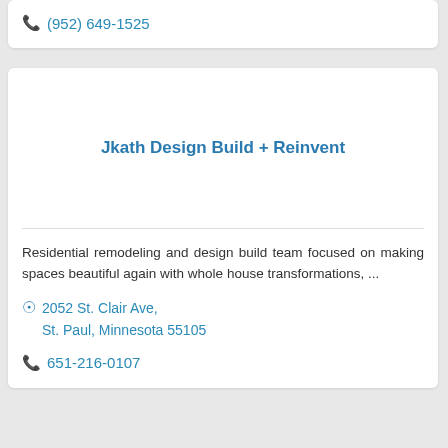(952) 649-1525
Jkath Design Build + Reinvent
Residential remodeling and design build team focused on making spaces beautiful again with whole house transformations, ...
2052 St. Clair Ave, St. Paul, Minnesota 55105
651-216-0107